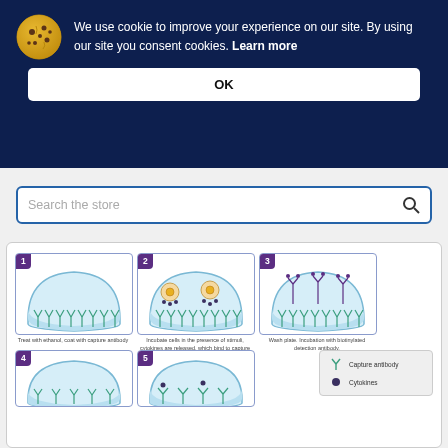We use cookie to improve your experience on our site. By using our site you consent cookies. Learn more
OK
Search the store
[Figure (infographic): Step-by-step ELISpot/ELISA assay illustration showing 5 steps in labeled panels: 1) Treat with ethanol, coat with capture antibody, 2) Incubate cells in the presence of stimuli, cytokines are released which bind to capture antibodies, 3) Wash plate. Incubation with biotinylated detection antibody, 4) (partial, cut off), 5) (partial, cut off). Legend shows Capture antibody (Y symbol in teal) and Cytokines (dark dot).]
Treat with ethanol, coat with capture antibody
Incubate cells in the presence of stimuli, cytokines are released, which bind to capture antibodies
Wash plate. Incubation with biotinylated detection antibody.
Capture antibody
Cytokines